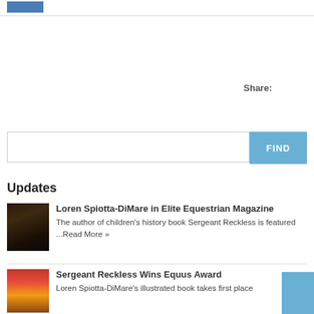Share:
FIND
Updates
Loren Spiotta-DiMare in Elite Equestrian Magazine
The author of children's history book Sergeant Reckless is featured ...Read More »
Sergeant Reckless Wins Equus Award
Loren Spiotta-DiMare's illustrated book takes first place